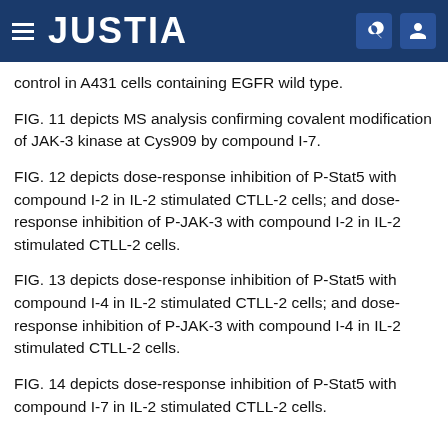JUSTIA
control in A431 cells containing EGFR wild type.
FIG. 11 depicts MS analysis confirming covalent modification of JAK-3 kinase at Cys909 by compound I-7.
FIG. 12 depicts dose-response inhibition of P-Stat5 with compound I-2 in IL-2 stimulated CTLL-2 cells; and dose-response inhibition of P-JAK-3 with compound I-2 in IL-2 stimulated CTLL-2 cells.
FIG. 13 depicts dose-response inhibition of P-Stat5 with compound I-4 in IL-2 stimulated CTLL-2 cells; and dose-response inhibition of P-JAK-3 with compound I-4 in IL-2 stimulated CTLL-2 cells.
FIG. 14 depicts dose-response inhibition of P-Stat5 with compound I-7 in IL-2 stimulated CTLL-2 cells.